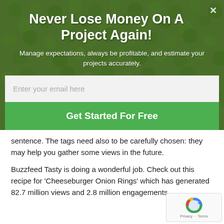Never Lose Money On A Project Again!
Manage expectations, always be profitable, and estimate your projects accurately.
Enter your email here
Get Started For Free
sentence. The tags need also to be carefully chosen: they may help you gather some views in the future.
Buzzfeed Tasty is doing a wonderful job. Check out this recipe for 'Cheeseburger Onion Rings' which has generated 82.7 million views and 2.8 million engagements.
[Figure (other): reCAPTCHA badge with Privacy and Terms links]